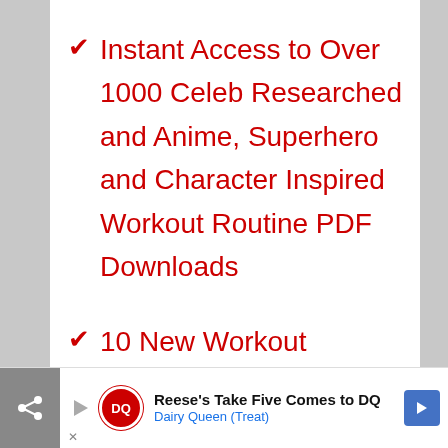Instant Access to Over 1000 Celeb Researched and Anime, Superhero and Character Inspired Workout Routine PDF Downloads
10 New Workout Routines Sent To Your Inbox Every Week
FREE Five Day SHJ Mini-
Reese's Take Five Comes to DQ
Dairy Queen (Treat)